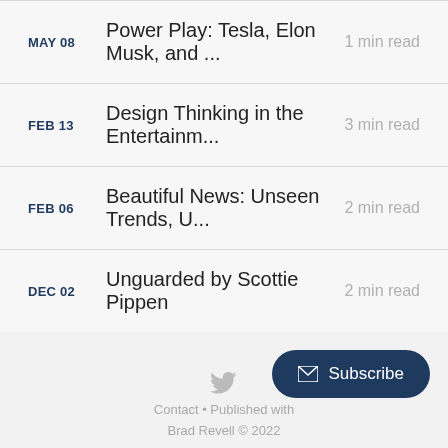MAY 08  Power Play: Tesla, Elon Musk, and ...  1 min read
FEB 13  Design Thinking in the Entertainm...  3 min read
FEB 06  Beautiful News: Unseen Trends, U...  2 min read
DEC 02  Unguarded by Scottie Pippen  2 min read
Contact • Published with   Brad Revell © 2022